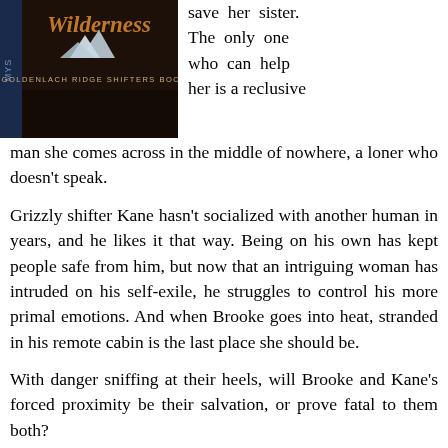[Figure (photo): Book cover for 'Wilderness' - Goldenlach Ridge Shifters Book 1, with dark mountain scene]
save her sister. The only one who can help her is a reclusive man she comes across in the middle of nowhere, a loner who doesn't speak.
Grizzly shifter Kane hasn't socialized with another human in years, and he likes it that way. Being on his own has kept people safe from him, but now that an intriguing woman has intruded on his self-exile, he struggles to control his more primal emotions. And when Brooke goes into heat, stranded in his remote cabin is the last place she should be.
With danger sniffing at their heels, will Brooke and Kane's forced proximity be their salvation, or prove fatal to them both?
[Figure (photo): Partial view of another book cover at bottom of page]